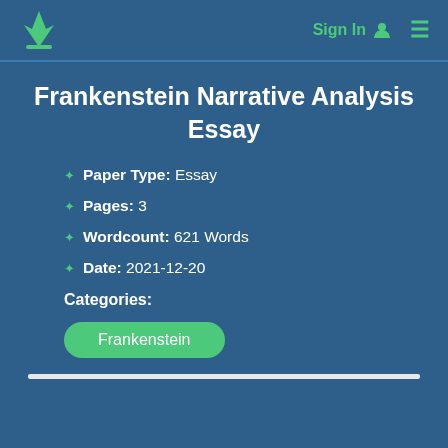Sign In  ≡
Frankenstein Narrative Analysis Essay
Paper Type: Essay
Pages: 3
Wordcount: 621 Words
Date: 2021-12-20
Categories:
Frankenstein